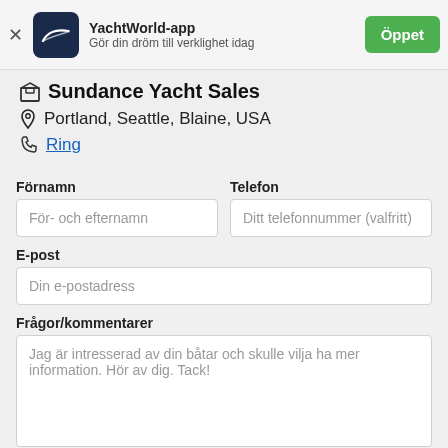YachtWorld-app – Gör din dröm till verklighet idag
Sundance Yacht Sales
Portland, Seattle, Blaine, USA
Ring
Förnamn
För- och efternamn
Telefon
Ditt telefonnummer (valfritt)
E-post
Din e-postadress
Frågor/kommentarer
Jag är intresserad av din båtar och skulle vilja ha mer information. Hör av dig. Tack!
Kontakta säljaren